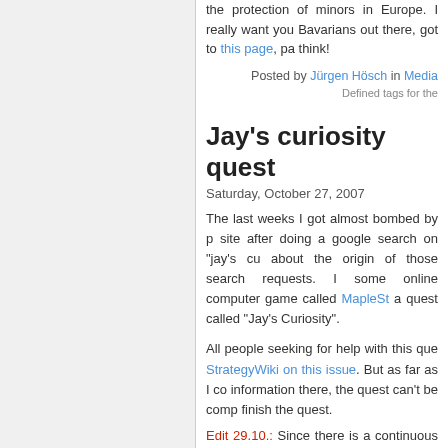the protection of minors in Europe. I really want you Bavarians out there, got to this page, pa think!
Posted by Jürgen Hösch in Media
Defined tags for the
Jay's curiosity quest
Saturday, October 27, 2007
The last weeks I got almost bombed by p site after doing a google search on "jay's cu about the origin of those search requests. I some online computer game called MapleSt a quest called "Jay's Curiosity".
All people seeking for help with this que StrategyWiki on this issue. But as far as I co information there, the quest can't be comp finish the quest.
Edit 29.10.: Since there is a continuous str page, I've marked it sticky. I also want to e where to find further info on jay's quest!
Edit 07.11.: I'm tired of having this Maple St the sticky markup.